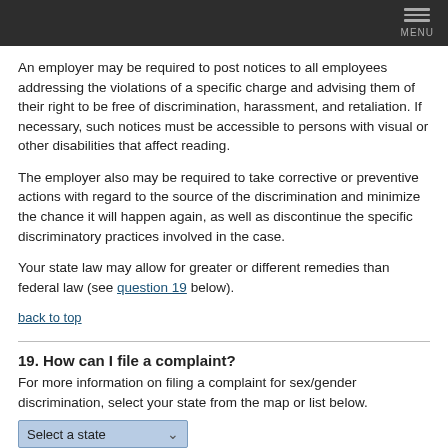MENU
An employer may be required to post notices to all employees addressing the violations of a specific charge and advising them of their right to be free of discrimination, harassment, and retaliation. If necessary, such notices must be accessible to persons with visual or other disabilities that affect reading.
The employer also may be required to take corrective or preventive actions with regard to the source of the discrimination and minimize the chance it will happen again, as well as discontinue the specific discriminatory practices involved in the case.
Your state law may allow for greater or different remedies than federal law (see question 19 below).
back to top
19. How can I file a complaint?
For more information on filing a complaint for sex/gender discrimination, select your state from the map or list below.
Select a state
back to top
[Figure (map): United states map thumbnail image]